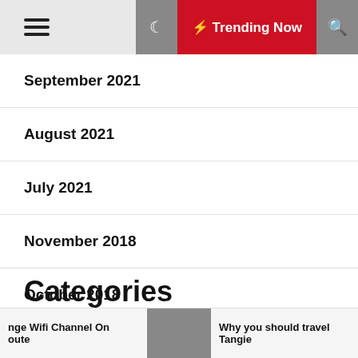Trending Now
September 2021
August 2021
July 2021
November 2018
October 2018
December 2016
Categories
nge Wifi Channel On oute | Why you should travel Tangie